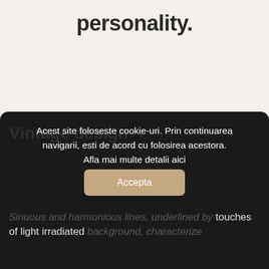personality.
[Figure (illustration): Broken image placeholder icon in top-left area of cream background section]
Vintage design
Acest site foloseste cookie-uri. Prin continuarea navigarii, esti de acord cu folosirea acestora.
Afla mai multe detalii aici
Sinuous and harmonious lines, underlined by touches of light irradiated background, characterize
Accepta